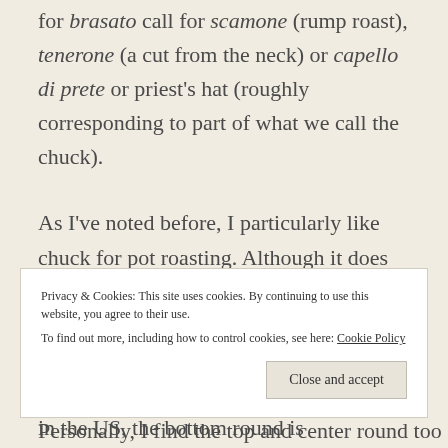for brasato call for scamone (rump roast), tenerone (a cut from the neck) or capello di prete or priest's hat (roughly corresponding to part of what we call the chuck).
As I've noted before, I particularly like chuck for pot roasting. Although it does not produce a very pretty roast, with its ample marbling, chuck stays moist and juicy without larding. Among the other cuts commonly used for pot roasting here in the US, the bottom round is
Privacy & Cookies: This site uses cookies. By continuing to use this website, you agree to their use. To find out more, including how to control cookies, see here: Cookie Policy
Close and accept
Personally, I find the top and center round too